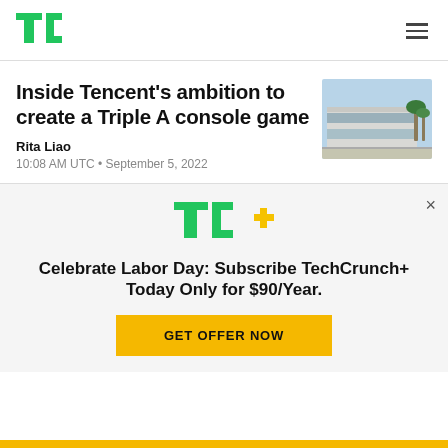TechCrunch logo and navigation
Inside Tencent’s ambition to create a Triple A console game
Rita Liao
10:08 AM UTC • September 5, 2022
[Figure (photo): Exterior photo of a modern office building with palm trees]
Celebrate Labor Day: Subscribe TechCrunch+ Today Only for $90/Year.
[Figure (logo): TC+ TechCrunch Plus logo in green and yellow]